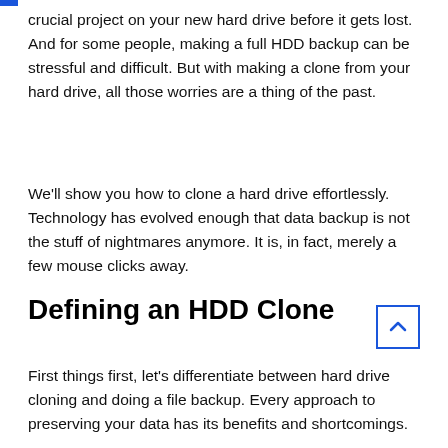crucial project on your new hard drive before it gets lost. And for some people, making a full HDD backup can be stressful and difficult. But with making a clone from your hard drive, all those worries are a thing of the past.
We'll show you how to clone a hard drive effortlessly. Technology has evolved enough that data backup is not the stuff of nightmares anymore. It is, in fact, merely a few mouse clicks away.
Defining an HDD Clone
First things first, let's differentiate between hard drive cloning and doing a file backup. Every approach to preserving your data has its benefits and shortcomings.